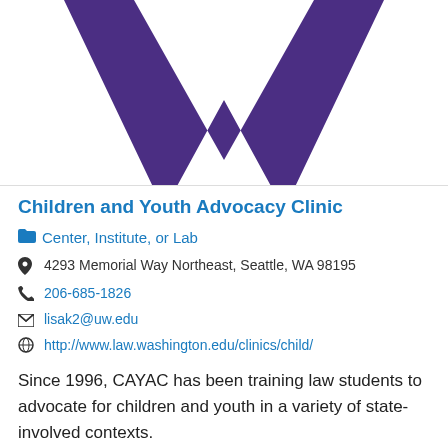[Figure (logo): University of Washington purple W logo on white background]
Children and Youth Advocacy Clinic
Center, Institute, or Lab
4293 Memorial Way Northeast, Seattle, WA 98195
206-685-1826
lisak2@uw.edu
http://www.law.washington.edu/clinics/child/
Since 1996, CAYAC has been training law students to advocate for children and youth in a variety of state-involved contexts.
Today, CAYAC students represent children and